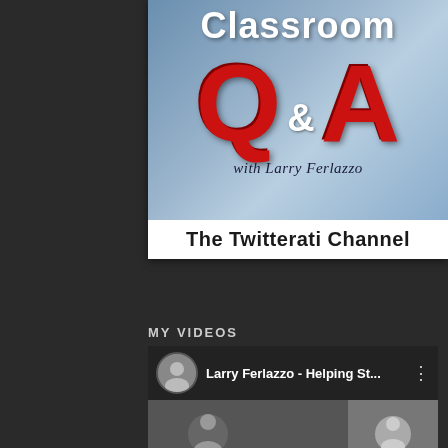[Figure (logo): Classroom Q&A with Larry Ferlazzo logo on a blue gradient background, with large red Q&A letters and subtitle 'The Twitterati Channel']
MY VIDEOS
[Figure (screenshot): Video card showing Larry Ferlazzo - Helping St... with circular avatar photo and three-dot menu icon]